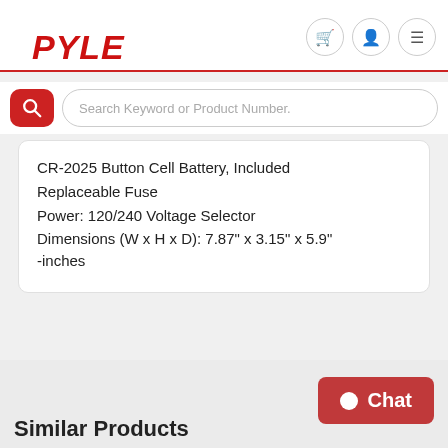PYLE
[Figure (screenshot): Search bar with red magnifying glass icon and placeholder text 'Search Keyword or Product Number.']
CR-2025 Button Cell Battery, Included
Replaceable Fuse
Power: 120/240 Voltage Selector
Dimensions (W x H x D): 7.87" x 3.15" x 5.9" -inches
Similar Products